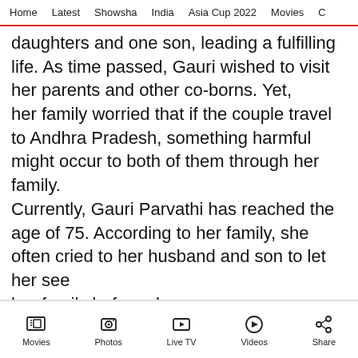Home  Latest  Showsha  India  Asia Cup 2022  Movies  C
daughters and one son, leading a fulfilling life. As time passed, Gauri wished to visit her parents and other co-borns. Yet, her family worried that if the couple travel to Andhra Pradesh, something harmful might occur to both of them through her family. Currently, Gauri Parvathi has reached the age of 75. According to her family, she often cried to her husband and son to let her see her family before she passes away. In order to find his maternal kin, Nammalvar - Gauri Parvathi's son Shanmugaraj (49)
Movies  Photos  Live TV  Videos  Share